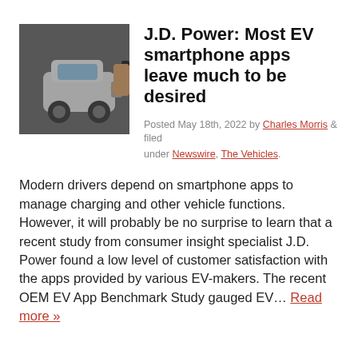[Figure (photo): Person plugging in an EV charger into a car]
J.D. Power: Most EV smartphone apps leave much to be desired
Posted May 18th, 2022 by Charles Morris & filed under Newswire, The Vehicles.
Modern drivers depend on smartphone apps to manage charging and other vehicle functions. However, it will probably be no surprise to learn that a recent study from consumer insight specialist J.D. Power found a low level of customer satisfaction with the apps provided by various EV-makers. The recent OEM EV App Benchmark Study gauged EV... Read more »